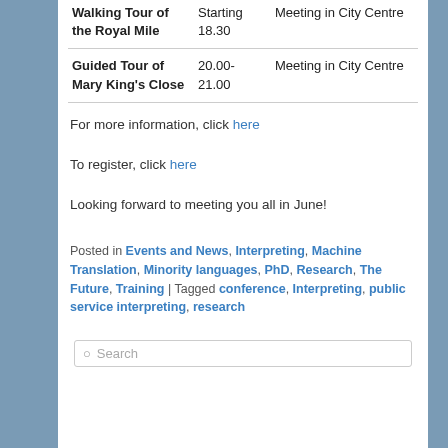| Activity | Time | Location |
| --- | --- | --- |
| Walking Tour of the Royal Mile | Starting 18.30 | Meeting in City Centre |
| Guided Tour of Mary King's Close | 20.00-21.00 | Meeting in City Centre |
For more information, click here
To register, click here
Looking forward to meeting you all in June!
Posted in Events and News, Interpreting, Machine Translation, Minority languages, PhD, Research, The Future, Training | Tagged conference, Interpreting, public service interpreting, research
Search